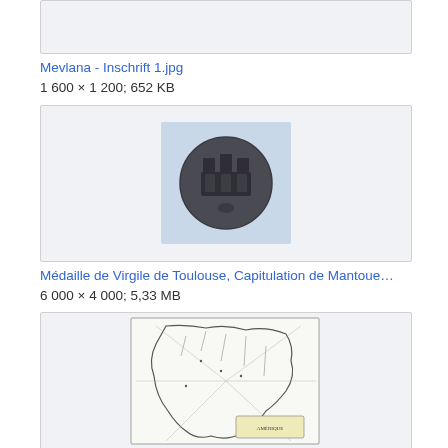[Figure (photo): Top portion of a partially visible image box with light gray background]
Mevlana - Inschrift 1.jpg
1 600 × 1 200; 652 KB
[Figure (photo): A dark metallic coin or medal showing a stylized crown or architectural design, on a light blue-white background]
Médaille de Virgile de Toulouse, Capitulation de Mantoue…
6 000 × 4 000; 5,33 MB
[Figure (map): A historical black and white map of North America with geographic details and a decorative cartouche]